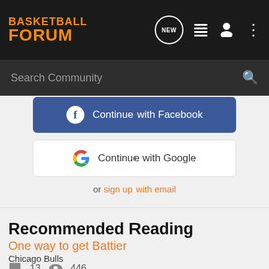BASKETBALL FORUM
Search Community
Continue with Facebook
Continue with Google
or sign up with email
Recommended Reading
One way to get Battier
Chicago Bulls
13  446
tonkey  updated Nov 21, 2002